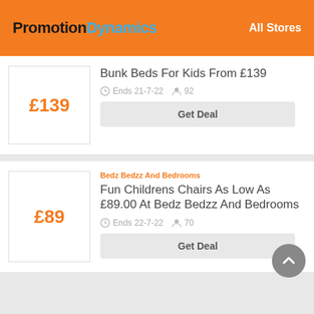PromotionDynamics  All Stores
£139
Bunk Beds For Kids From £139
Ends 21-7-22  92
Get Deal
Bedz Bedzz And Bedrooms
£89
Fun Childrens Chairs As Low As £89.00 At Bedz Bedzz And Bedrooms
Ends 22-7-22  70
Get Deal